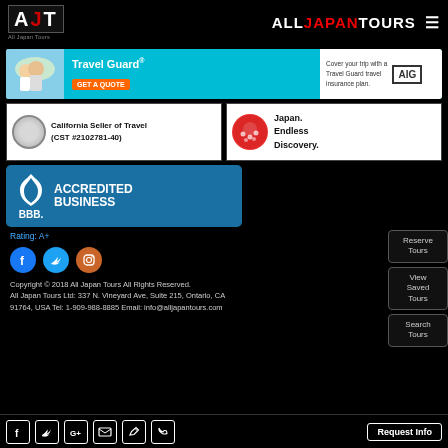AJT All Japan Tours — ALLJAPANTOURS
[Figure (other): Travel Guard AIG travel insurance banner ad with couple on beach]
[Figure (other): California Seller of Travel (CST #2102781-40) seal/certificate badge]
[Figure (other): Japan. Endless Discovery. logo badge]
[Figure (other): BBB Accredited Business badge with Rating: A+]
[Figure (other): Social media icons: Facebook, Twitter, Instagram]
Copyright © 2018 All Japan Tours All Rights Reserved. All Japan Tours Ltd: 337 N. Vineyard Ave, Suite 215, Ontario, CA 91764, USA Tel: 1-909-988-8885 Email: info@alljapantours.com
Facebook Twitter Google+ Email Edit Phone — Request Info